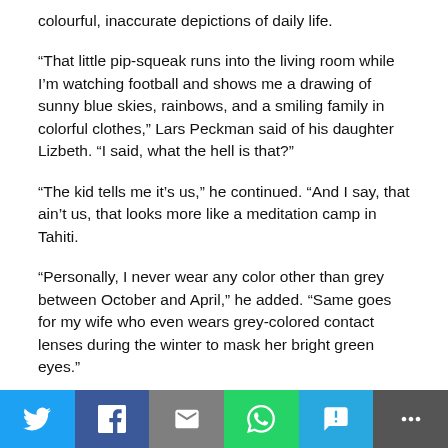colourful, inaccurate depictions of daily life.
“That little pip-squeak runs into the living room while I’m watching football and shows me a drawing of sunny blue skies, rainbows, and a smiling family in colorful clothes,” Lars Peckman said of his daughter Lizbeth. “I said, what the hell is that?”
“The kid tells me it’s us,” he continued. “And I say, that ain’t us, that looks more like a meditation camp in Tahiti.
“Personally, I never wear any color other than grey between October and April,” he added. “Same goes for my wife who even wears grey-colored contact lenses during the winter to mask her bright green eyes.”
After Peckman wrote an email the head of Crayola, the
[Figure (infographic): Social media share bar with buttons for Twitter, Facebook, Email, WhatsApp, SMS, and More]